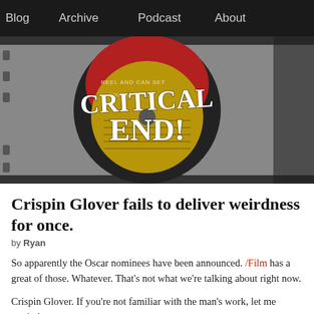Blog   Archive   Podcast   About
[Figure (photo): Close-up photo of a film reel canister label with 'Critical End!' written in white handwritten text over a red and yellow/gold circular label. Text 'REEL AND CAN SET' and 'CONTENT' partially visible.]
Crispin Glover fails to deliver weirdness for once.
by Ryan
So apparently the Oscar nominees have been announced. /Film has a great of those. Whatever. That's not what we're talking about right now.
Crispin Glover. If you're not familiar with the man's work, let me remind you are: